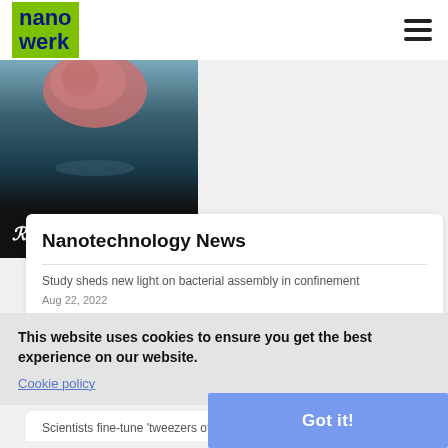[Figure (logo): Nanowerk logo - dark blue text on green background]
[Figure (photo): Nanosurf advertisement showing a nanoparticle against blue-teal background with nanosurf branding at bottom]
Nanotechnology News
Study sheds new light on bacterial assembly in confinement
Aug 22, 2022
New nanosheet photocatalyst boosts water splitting efficiency for clean hydrogen production
Aug 20, 2022
This website uses cookies to ensure you get the best experience on our website.
Cookie policy
Got it!
Scientists fine-tune 'tweezers of sound' for contactless manipulation